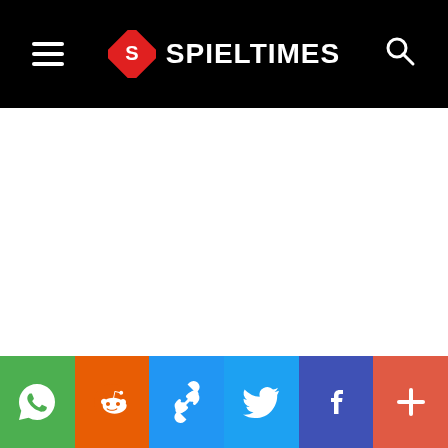SPIELTIMES
[Figure (screenshot): White main content area (blank/empty)]
Social share bar: WhatsApp, Reddit, Link, Twitter, Facebook, More